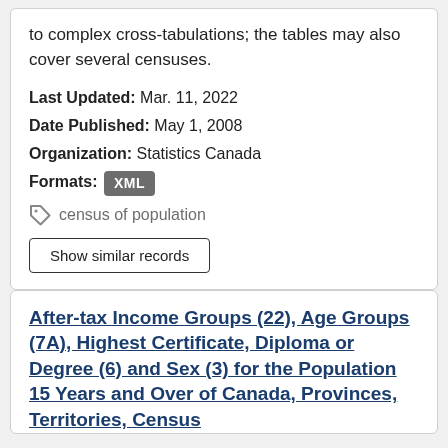to complex cross-tabulations; the tables may also cover several censuses.
Last Updated: Mar. 11, 2022
Date Published: May 1, 2008
Organization: Statistics Canada
Formats: XML
census of population
Show similar records
After-tax Income Groups (22), Age Groups (7A), Highest Certificate, Diploma or Degree (6) and Sex (3) for the Population 15 Years and Over of Canada, Provinces, Territories, Census